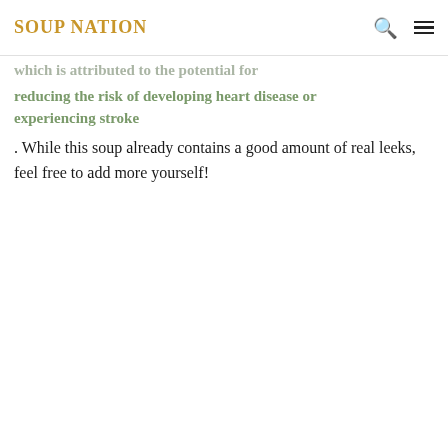SOUP NATION
reducing the risk of developing heart disease or experiencing stroke
. While this soup already contains a good amount of real leeks, feel free to add more yourself!